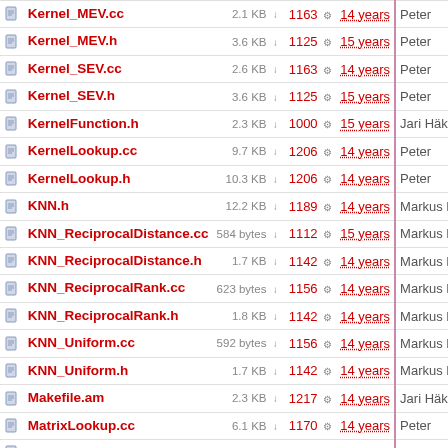| Name | Size | Rev | Age | Author |
| --- | --- | --- | --- | --- |
| Kernel_MEV.cc | 2.1 KB | 1163 | 14 years | Peter |
| Kernel_MEV.h | 3.6 KB | 1125 | 15 years | Peter |
| Kernel_SEV.cc | 2.6 KB | 1163 | 14 years | Peter |
| Kernel_SEV.h | 3.6 KB | 1125 | 15 years | Peter |
| KernelFunction.h | 2.3 KB | 1000 | 15 years | Jari Häkk |
| KernelLookup.cc | 9.7 KB | 1206 | 14 years | Peter |
| KernelLookup.h | 10.3 KB | 1206 | 14 years | Peter |
| KNN.h | 12.2 KB | 1189 | 14 years | Markus R |
| KNN_ReciprocalDistance.cc | 584 bytes | 1112 | 15 years | Markus R |
| KNN_ReciprocalDistance.h | 1.7 KB | 1142 | 14 years | Markus R |
| KNN_ReciprocalRank.cc | 623 bytes | 1156 | 14 years | Markus R |
| KNN_ReciprocalRank.h | 1.8 KB | 1142 | 14 years | Markus R |
| KNN_Uniform.cc | 592 bytes | 1156 | 14 years | Markus R |
| KNN_Uniform.h | 1.7 KB | 1142 | 14 years | Markus R |
| Makefile.am | 2.3 KB | 1217 | 14 years | Jari Häkk |
| MatrixLookup.cc | 6.1 KB | 1170 | 14 years | Peter |
| MatrixLookup.h | 10.3 KB | 1192 | 14 years | Peter |
| MatrixLookupWeighted.cc | 8.2 KB | 1193 | 14 years | Peter |
| MatrixLookupWeighted.h | 11.6 KB | 1193 | 14 years | Peter |